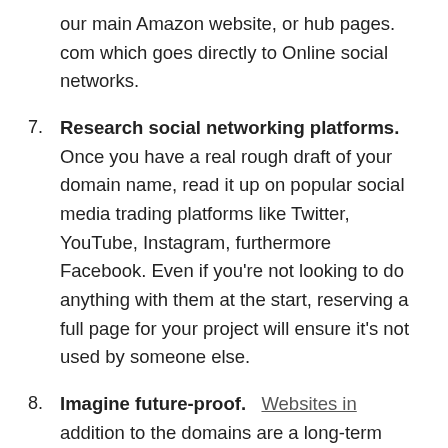our main Amazon website, or hub pages. com which goes directly to Online social networks.
7. Research social networking platforms. Once you have a real rough draft of your domain name, read it up on popular social media trading platforms like Twitter, YouTube, Instagram, furthermore Facebook. Even if you're not looking to do anything with them at the start, reserving a full page for your project will ensure it's not used by someone else.
8. Imagine future-proof. Websites in addition to the domains are a long-term investment. Now revolving the name around the most overhyped thing at this very moment most likely the best approach in the long run. So don't be afraid to think outside the box.
9. Discuss your ideas. If you feel like picking the right business name for your website is the hardest the superior your life, perhaps you need some council. Present your